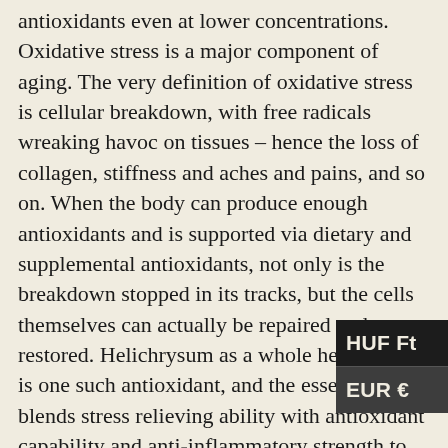antioxidants even at lower concentrations. Oxidative stress is a major component of aging. The very definition of oxidative stress is cellular breakdown, with free radicals wreaking havoc on tissues – hence the loss of collagen, stiffness and aches and pains, and so on. When the body can produce enough antioxidants and is supported via dietary and supplemental antioxidants, not only is the breakdown stopped in its tracks, but the cells themselves can actually be repaired and restored. Helichrysum as a whole herb remedy is one such antioxidant, and the essential oil blends stress relieving ability with antioxidant capability and anti-inflammatory strength to provide just what the skin needs to begin to repair years of damage.
Sea Buckthorn oil: The richest natural source of Beta Carotene available. Beta Carotene is a natural form of Vitamin A that penetrates deeply into the skin to restore and revitalize from within.